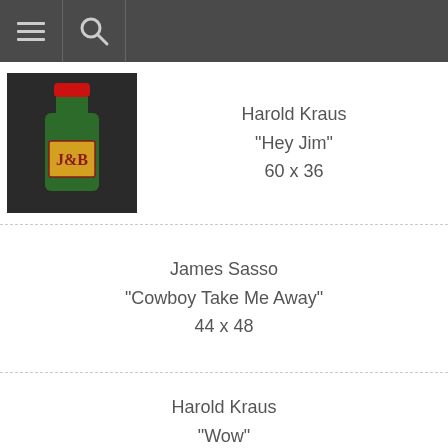navigation toolbar with menu and search icons
[Figure (photo): Green J&B Scotch whisky bottle with red cap on dark background]
Harold Kraus
"Hey Jim"
60 x 36
James Sasso
"Cowboy Take Me Away"
44 x 48
Harold Kraus
"Wow"
48 x 36